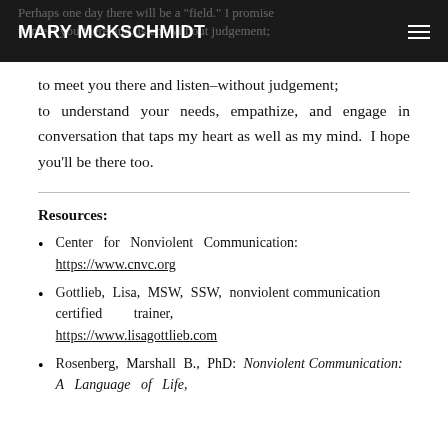MARY MCKSCHMIDT
to meet you there and listen–without judgement; to understand your needs, empathize, and engage in conversation that taps my heart as well as my mind.  I hope you'll be there too.
Resources:
Center for Nonviolent Communication: https://www.cnvc.org
Gottlieb, Lisa, MSW, SSW, nonviolent communication certified trainer, https://www.lisagottlieb.com
Rosenberg, Marshall B., PhD: Nonviolent Communication: A Language of Life,